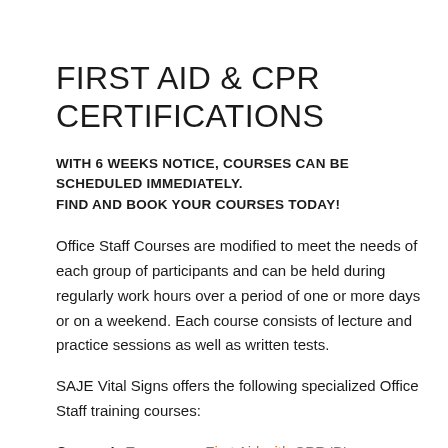FIRST AID & CPR CERTIFICATIONS
WITH 6 WEEKS NOTICE, COURSES CAN BE SCHEDULED IMMEDIATELY.
FIND AND BOOK YOUR COURSES TODAY!
Office Staff Courses are modified to meet the needs of each group of participants and can be held during regularly work hours over a period of one or more days or on a weekend. Each course consists of lecture and practice sessions as well as written tests.
SAJE Vital Signs offers the following specialized Office Staff training courses:
Course 1: Emergency First Aid with CPR 'B'